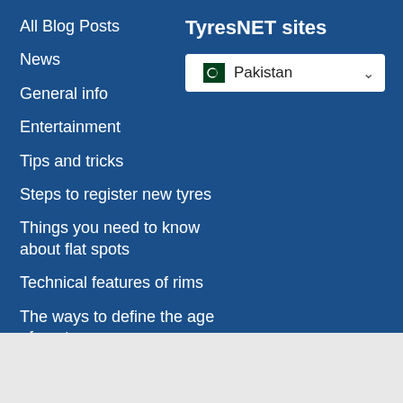All Blog Posts
News
General info
Entertainment
Tips and tricks
Steps to register new tyres
Things you need to know about flat spots
Technical features of rims
The ways to define the age of car tyres
Difference between narrow and wide tyres
TyresNET sites
[Figure (other): Dropdown selector showing Pakistan flag and country name with chevron]
Top Tyre model
Tyres Brands